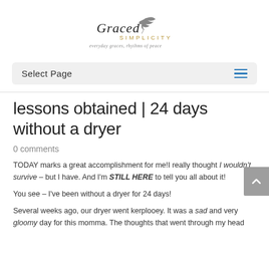[Figure (logo): Graced Simplicity logo with script text and tagline 'everyday graces, rhythms of peace']
Select Page
lessons obtained | 24 days without a dryer
0 comments
TODAY marks a great accomplishment for me! I really thought I wouldn't survive – but I have. And I'm STILL HERE to tell you all about it!

You see – I've been without a dryer for 24 days!

Several weeks ago, our dryer went kerplooey. It was a sad and very gloomy day for this momma. The thoughts that went through my head